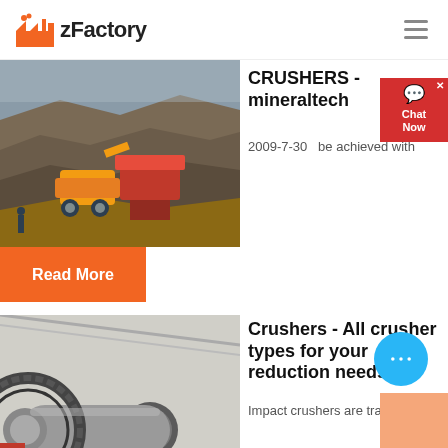zFactory
[Figure (photo): Aerial view of an open-pit mine/quarry with heavy machinery and excavation equipment, orange/red crusher machine visible]
CRUSHERS - mineraltech
2009-7-30   be achieved with
Read More
[Figure (photo): Industrial ball mill / grinding machine in a factory setting, large grey cylindrical drum with gear ring]
Crushers - All crusher types for your reduction needs ...
Impact crushers are traditionally...